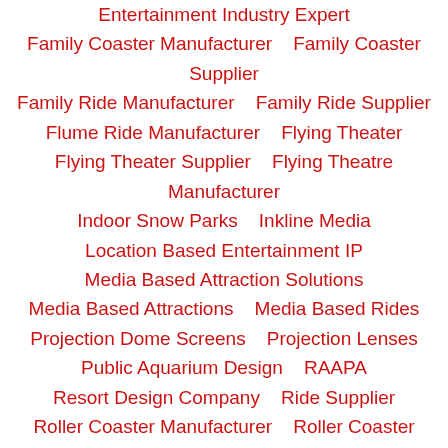Entertainment Industry Expert
Family Coaster Manufacturer    Family Coaster Supplier
Family Ride Manufacturer    Family Ride Supplier
Flume Ride Manufacturer    Flying Theater
Flying Theater Supplier    Flying Theatre Manufacturer
Indoor Snow Parks    Inkline Media
Location Based Entertainment IP
Media Based Attraction Solutions
Media Based Attractions    Media Based Rides
Projection Dome Screens    Projection Lenses
Public Aquarium Design    RAAPA
Resort Design Company    Ride Supplier
Roller Coaster Manufacturer    Roller Coaster Supplier
Show Control Manufacturer
Simulator Ride Manufacturer    Simulator Ride Supplier
Stage Fabric    Surf Simulator Supplier
Surf Wave Machine    Theme and Water Park Lockers
Theme Park Attraction Design
Theme Park Concept Design